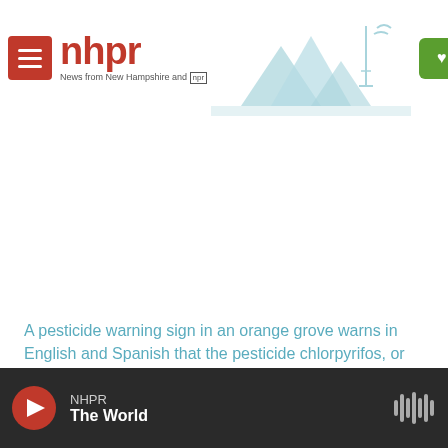nhpr — News from New Hampshire and NPR | Support
[Figure (photo): Large photo area (white/blank) showing an orange grove with a pesticide warning sign]
A pesticide warning sign in an orange grove warns in English and Spanish that the pesticide chlorpyrifos, or Lorsban, has been applied to these orange trees.
NHPR — The World (audio player bar)